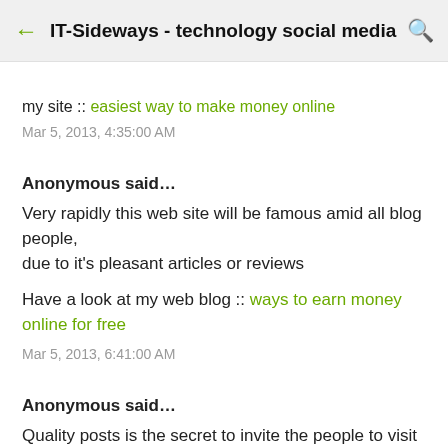IT-Sideways - technology social media
my site :: easiest way to make money online
Mar 5, 2013, 4:35:00 AM
Anonymous said…
Very rapidly this web site will be famous amid all blog people, due to it's pleasant articles or reviews
Have a look at my web blog :: ways to earn money online for free
Mar 5, 2013, 6:41:00 AM
Anonymous said…
Quality posts is the secret to invite the people to visit the site, that's what this web